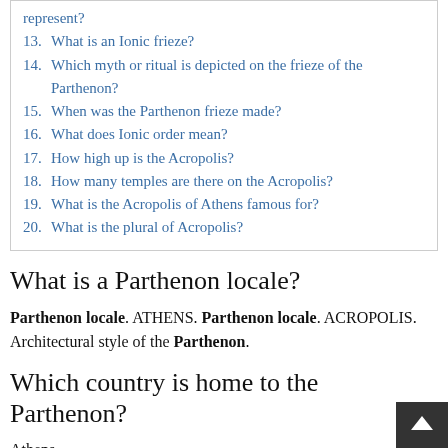represent?
13. What is an Ionic frieze?
14. Which myth or ritual is depicted on the frieze of the Parthenon?
15. When was the Parthenon frieze made?
16. What does Ionic order mean?
17. How high up is the Acropolis?
18. How many temples are there on the Acropolis?
19. What is the Acropolis of Athens famous for?
20. What is the plural of Acropolis?
What is a Parthenon locale?
Parthenon locale. ATHENS. Parthenon locale. ACROPOLIS. Architectural style of the Parthenon.
Which country is home to the Parthenon?
Athens